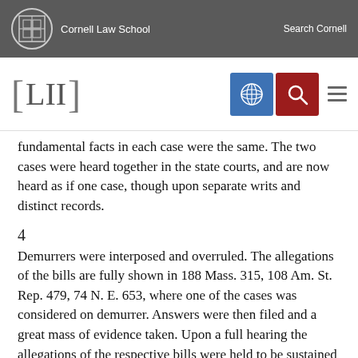Cornell Law School   Search Cornell
[Figure (logo): LII Legal Information Institute navigation bar with blue grid icon, red search icon, and hamburger menu]
fundamental facts in each case were the same. The two cases were heard together in the state courts, and are now heard as if one case, though upon separate writs and distinct records.
4
Demurrers were interposed and overruled. The allegations of the bills are fully shown in 188 Mass. 315, 108 Am. St. Rep. 479, 74 N. E. 653, where one of the cases was considered on demurrer. Answers were then filed and a great mass of evidence taken. Upon a full hearing the allegations of the respective bills were held to be sustained by the proofs, and final decrees were rendered for the plaintiff in sums aggregating $2,178,673.33. The